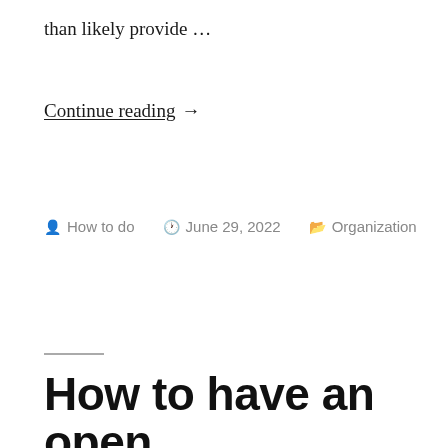than likely provide …
Continue reading →
Posted by How to do   June 29, 2022   Organization
How to have an open marriage